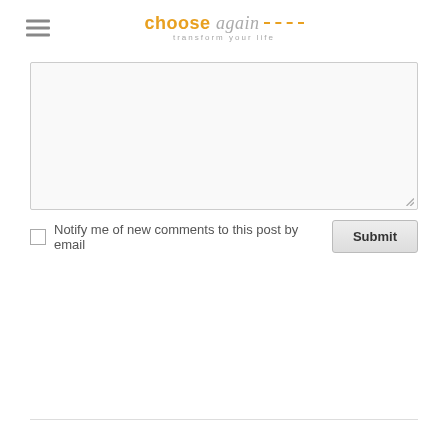choose again — transform your life
[Figure (screenshot): Comment text area input box, large empty textarea with resize handle]
Notify me of new comments to this post by email
[Figure (other): Submit button]